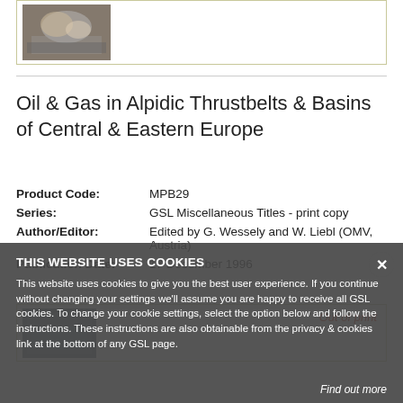[Figure (photo): Book cover thumbnail showing geological rock formations, top card]
Oil & Gas in Alpidic Thrustbelts & Basins of Central & Eastern Europe
Product Code: MPB29
Series: GSL Miscellaneous Titles - print copy
Author/Editor: Edited by G. Wessely and W. Liebl (OMV, Austria)
Publication Date: 17 December 1996
[Figure (photo): Book cover thumbnail, bottom card, partially visible]
Out of print
THIS WEBSITE USES COOKIES
This website uses cookies to give you the best user experience. If you continue without changing your settings we'll assume you are happy to receive all GSL cookies. To change your cookie settings, select the option below and follow the instructions. These instructions are also obtainable from the privacy & cookies link at the bottom of any GSL page.
Find out more